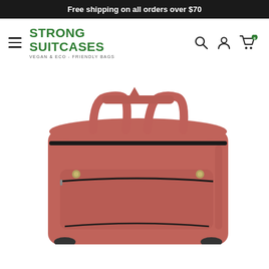Free shipping on all orders over $70
STRONG SUITCASES
VEGAN & ECO - FRIENDLY BAGS
[Figure (photo): A salmon/coral pink-red PU leather duffle travel bag with black zipper trim, top carry handles, and a front zipper pocket, shown against a white background.]